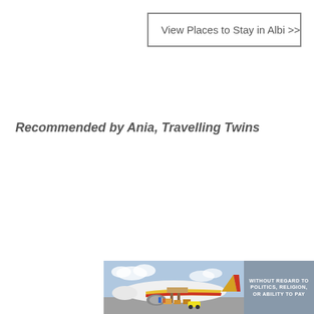View Places to Stay in Albi >>
Recommended by Ania, Travelling Twins
[Figure (photo): Advertisement banner showing an airplane being loaded with cargo, with text overlay reading WITHOUT REGARD TO POLITICS, RELIGION, OR ABILITY TO PAY]